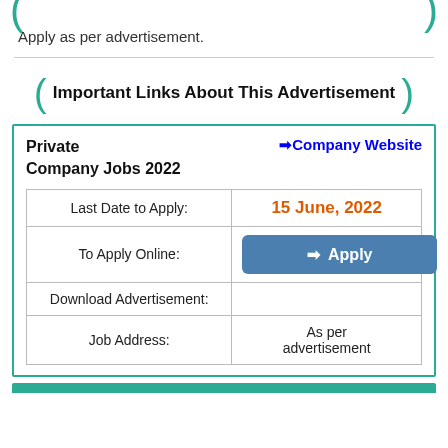Apply as per advertisement.
Important Links About This Advertisement
|  |  |
| --- | --- |
| Last Date to Apply: | 15 June, 2022 |
| To Apply Online: | → Apply |
| Download Advertisement: |  |
| Job Address: | As per advertisement |